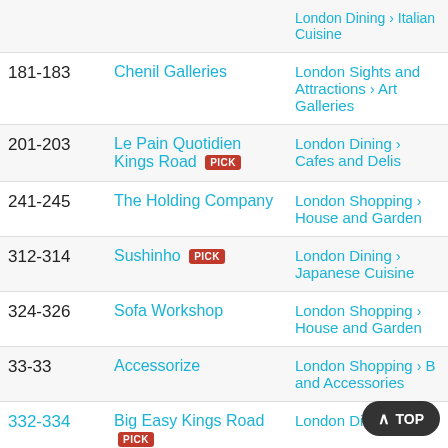| Number | Name | Category |
| --- | --- | --- |
| 181-183 | Chenil Galleries | London Sights and Attractions > Art Galleries |
| 201-203 | Le Pain Quotidien Kings Road [PICK] | London Dining > Cafes and Delis |
| 241-245 | The Holding Company | London Shopping > House and Garden |
| 312-314 | Sushinho [PICK] | London Dining > Japanese Cuisine |
| 324-326 | Sofa Workshop | London Shopping > House and Garden |
| 33-33 | Accessorize | London Shopping > Bags and Accessories |
| 332-334 | Big Easy Kings Road [PICK] | London Dining > |